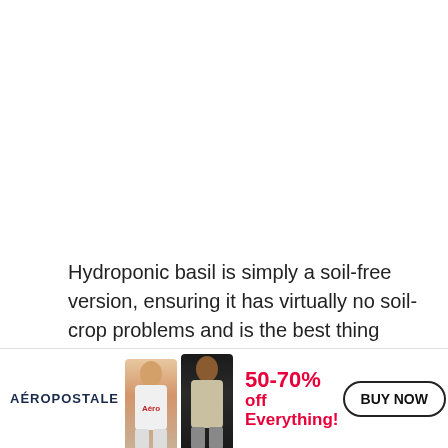Hydroponic basil is simply a soil-free version, ensuring it has virtually no soil-crop problems and is the best thing about this herb.
[Figure (photo): Close-up photo of green basil leaves with blurred background]
[Figure (infographic): Aéropostale advertisement banner showing two models, 50-70% off Everything!, and BUY NOW button]